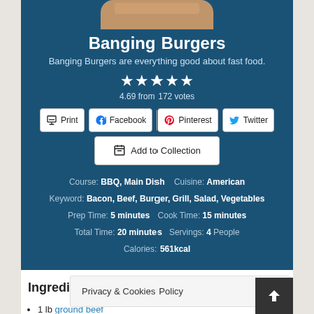[Figure (photo): Cropped top of a burger food photo with rounded top corners on a dark teal background]
Banging Burgers
Banging Burgers are everything good about fast food.
4.69 from 172 votes
Print  Facebook  Pinterest  Twitter
Add to Collection
Course: BBQ, Main Dish   Cuisine: American
Keyword: Bacon, Beef, Burger, Grill, Salad, Vegetables
Prep Time: 5 minutes   Cook Time: 15 minutes
Total Time: 20 minutes   Servings: 4 People
Calories: 561kcal
Ingredients
1 lb ground beef
8 rashers smoked ba... ing